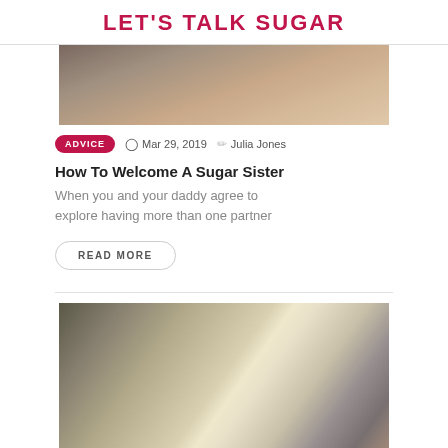LET'S TALK SUGAR
[Figure (photo): Cropped photo of a person holding a smartphone, partial view of hands and phone against blurred background]
ADVICE   Mar 29, 2019   Julia Jones
How To Welcome A Sugar Sister
When you and your daddy agree to explore having more than one partner
READ MORE
[Figure (photo): Photo showing backs of three people including a man in a plaid shirt and two women with blonde and auburn hair]